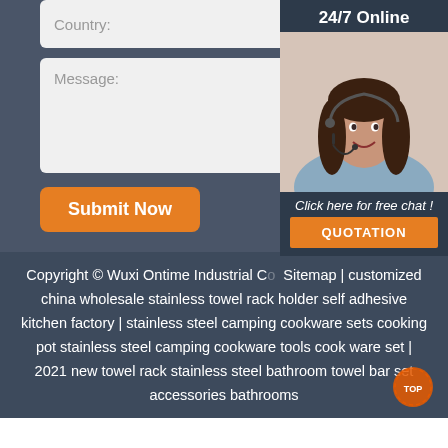Country:
Message:
Submit Now
[Figure (photo): 24/7 Online chat widget with a smiling woman wearing a headset, blue shirt, and a QUOTATION button below]
Copyright © Wuxi Ontime Industrial C... Sitemap | customized china wholesale stainless towel rack holder self adhesive kitchen factory | stainless steel camping cookware sets cooking pot stainless steel camping cookware tools cook ware set | 2021 new towel rack stainless steel bathroom towel bar set accessories bathrooms